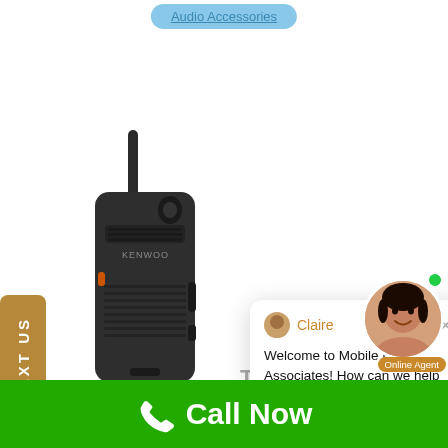Audio Accessories
[Figure (photo): Kenwood portable two-way radio/walkie-talkie, black, with antenna, shown vertically]
TEXT US
[Figure (screenshot): Chat popup from agent Claire: Welcome to Mobile Relay Associates! How can we help you?]
full bandwidth conventional ana... portable radio. The ... is capable 16 channe... with the following m...
[Figure (photo): Online agent avatar - smiling woman with Online Agent label and green dot]
Call Now